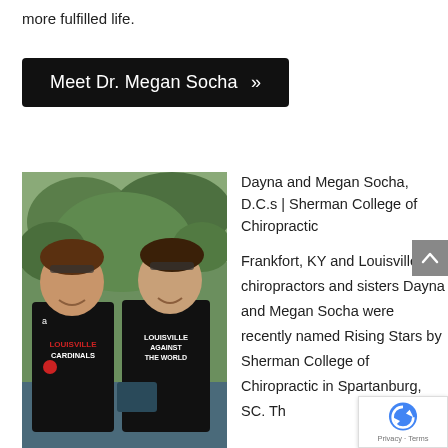more fulfilled life.
Meet Dr. Megan Socha »
[Figure (photo): Two women smiling, wearing black Louisville Cardinals and Louisville Against the World t-shirts, standing outdoors in front of greenery.]
Dayna and Megan Socha, D.C.s | Sherman College of Chiropractic
Frankfort, KY and Louisville chiropractors and sisters Dayna and Megan Socha were recently named Rising Stars by Sherman College of Chiropractic in Spartanburg, SC. Th